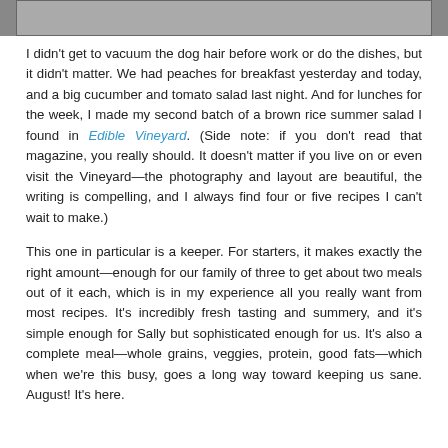[Figure (photo): Partial photo strip at top of page showing what appears to be food/dishes on a wooden surface]
I didn't get to vacuum the dog hair before work or do the dishes, but it didn't matter. We had peaches for breakfast yesterday and today, and a big cucumber and tomato salad last night. And for lunches for the week, I made my second batch of a brown rice summer salad I found in Edible Vineyard. (Side note: if you don't read that magazine, you really should. It doesn't matter if you live on or even visit the Vineyard—the photography and layout are beautiful, the writing is compelling, and I always find four or five recipes I can't wait to make.)
This one in particular is a keeper. For starters, it makes exactly the right amount—enough for our family of three to get about two meals out of it each, which is in my experience all you really want from most recipes. It's incredibly fresh tasting and summery, and it's simple enough for Sally but sophisticated enough for us. It's also a complete meal—whole grains, veggies, protein, good fats—which when we're this busy, goes a long way toward keeping us sane. August! It's here.